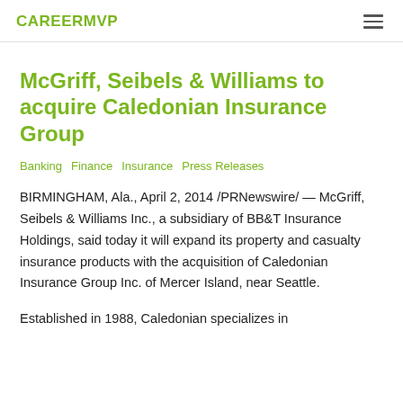CAREERMVP
McGriff, Seibels & Williams to acquire Caledonian Insurance Group
Banking  Finance  Insurance  Press Releases
BIRMINGHAM, Ala., April 2, 2014 /PRNewswire/ — McGriff, Seibels & Williams Inc., a subsidiary of BB&T Insurance Holdings, said today it will expand its property and casualty insurance products with the acquisition of Caledonian Insurance Group Inc. of Mercer Island, near Seattle.
Established in 1988, Caledonian specializes in